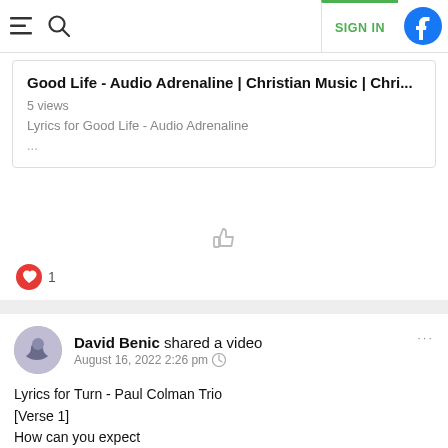≡  🔍   SIGN IN  [Facebook icon]
Good Life - Audio Adrenaline | Christian Music | Chri...
5 views
Lyrics for Good Life - Audio Adrenaline
...
[Figure (infographic): Thumbs up like icon (outline), gray]
[Figure (infographic): Red heart icon with number 1 beside it]
David Benic shared a video
August 16, 2022 2:26 pm 🌐
Lyrics for Turn - Paul Colman Trio
[Verse 1]
How can you expect
People in their right minds
To not see between the cracks
... View more